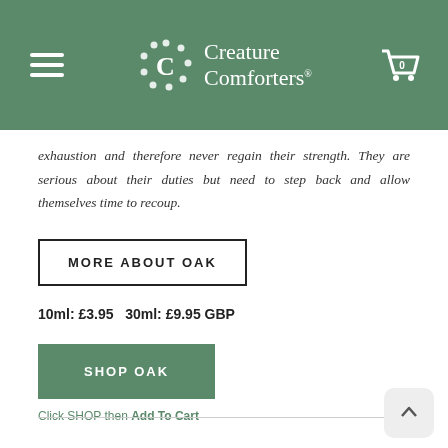Creature Comforters
exhaustion and therefore never regain their strength. They are serious about their duties but need to step back and allow themselves time to recoup.
MORE ABOUT OAK
10ml: £3.95   30ml: £9.95 GBP
SHOP OAK
Click SHOP then Add To Cart